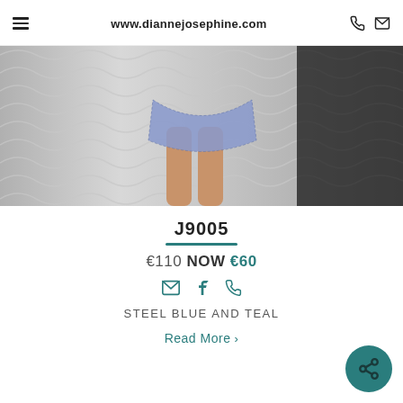www.diannejosephine.com
[Figure (photo): Fashion photo showing lower body of a model wearing a steel blue/periwinkle lace mini dress, standing in front of a silver wave-textured wall backdrop.]
J9005
€110 NOW €60
STEEL BLUE AND TEAL
Read More >